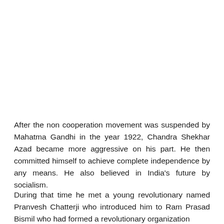After the non cooperation movement was suspended by Mahatma Gandhi in the year 1922, Chandra Shekhar Azad became more aggressive on his part. He then committed himself to achieve complete independence by any means. He also believed in India's future by socialism.
During that time he met a young revolutionary named Pranvesh Chatterji who introduced him to Ram Prasad Bismil who had formed a revolutionary organization